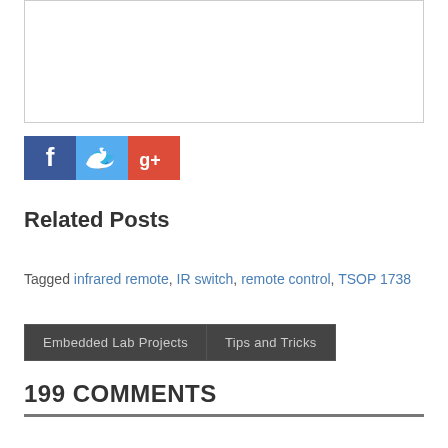[Figure (other): White bordered box at top of page (content area placeholder)]
[Figure (infographic): Social media sharing icons: Facebook (blue), Twitter (light blue), Google+ (red/pink)]
Related Posts
Tagged infrared remote, IR switch, remote control, TSOP 1738
Embedded Lab Projects   Tips and Tricks
199 COMMENTS